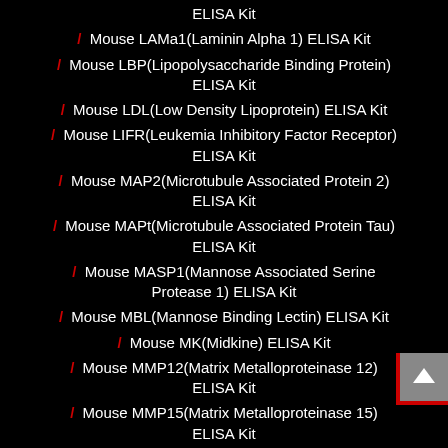ELISA Kit
/ Mouse LAMa1(Laminin Alpha 1) ELISA Kit
/ Mouse LBP(Lipopolysaccharide Binding Protein) ELISA Kit
/ Mouse LDL(Low Density Lipoprotein) ELISA Kit
/ Mouse LIFR(Leukemia Inhibitory Factor Receptor) ELISA Kit
/ Mouse MAP2(Microtubule Associated Protein 2) ELISA Kit
/ Mouse MAPt(Microtubule Associated Protein Tau) ELISA Kit
/ Mouse MASP1(Mannose Associated Serine Protease 1) ELISA Kit
/ Mouse MBL(Mannose Binding Lectin) ELISA Kit
/ Mouse MK(Midkine) ELISA Kit
/ Mouse MMP12(Matrix Metalloproteinase 12) ELISA Kit
/ Mouse MMP15(Matrix Metalloproteinase 15) ELISA Kit